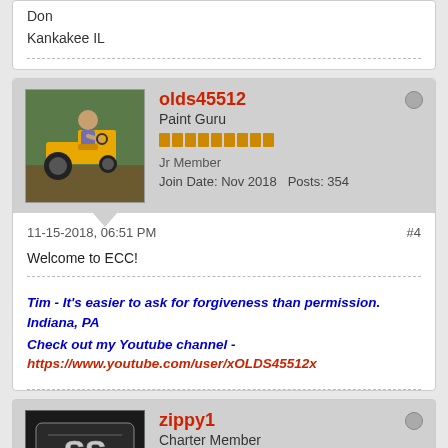Don
Kankakee IL
olds45512
Paint Guru
Jr Member
Join Date: Nov 2018  Posts: 354
11-15-2018, 06:51 PM  #4
Welcome to ECC!
Tim - It's easier to ask for forgiveness than permission. Indiana, PA
Check out my Youtube channel -
https://www.youtube.com/user/xOLDS45512x
zippy1
Charter Member
Grand Member